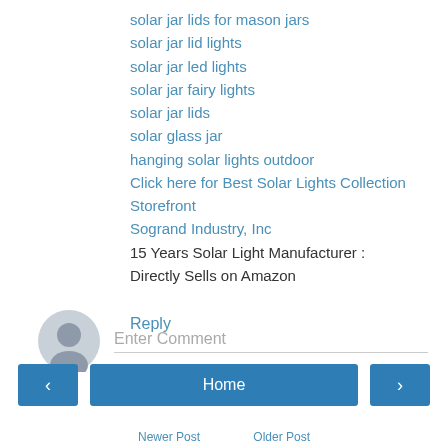solar jar lids for mason jars
solar jar lid lights
solar jar led lights
solar jar fairy lights
solar jar lids
solar glass jar
hanging solar lights outdoor
Click here for Best Solar Lights Collection Storefront
Sogrand Industry, Inc
15 Years Solar Light Manufacturer :
Directly Sells on Amazon
Reply
Enter Comment
Home